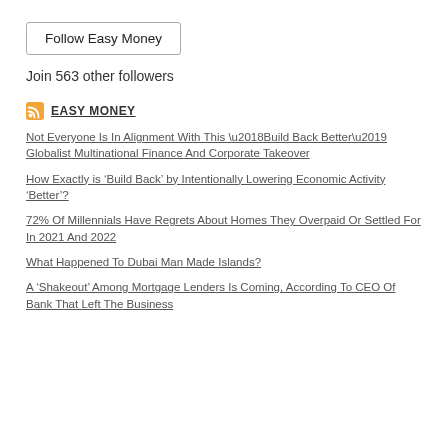Follow Easy Money
Join 563 other followers
EASY MONEY
Not Everyone Is In Alignment With This ‘Build Back Better’ Globalist Multinational Finance And Corporate Takeover
How Exactly is ‘Build Back’ by Intentionally Lowering Economic Activity ‘Better’?
72% Of Millennials Have Regrets About Homes They Overpaid Or Settled For In 2021 And 2022
What Happened To Dubai Man Made Islands?
A ‘Shakeout’ Among Mortgage Lenders Is Coming, According To CEO Of Bank That Left The Business